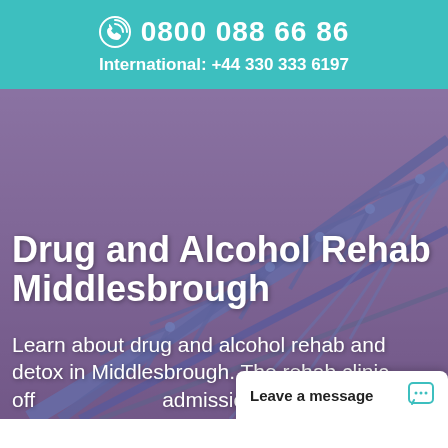0800 088 66 86
International: +44 330 333 6197
[Figure (photo): Background photo of a large metal bridge structure (transporter bridge) against a purple-tinted sky, representing Middlesbrough]
Drug and Alcohol Rehab Middlesbrough
Learn about drug and alcohol rehab and detox in Middlesbrough. The rehab clinic off... admissions pr...
Leave a message